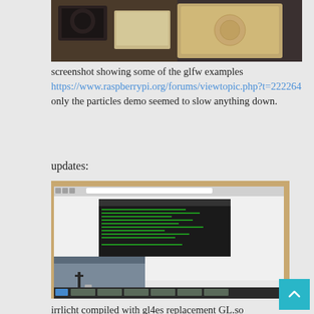[Figure (photo): Photo of electronic devices on a wooden/metallic surface, showing tablets or laptops]
screenshot showing some of the glfw examples https://www.raspberrypi.org/forums/viewtopic.php?t=222264 only the particles demo seemed to slow anything down.
updates:
[Figure (screenshot): Screenshot of a desktop environment showing a terminal window with text and a 3D graphics demo (irrlicht) in the lower left, along with a browser window]
irrlicht compiled with gl4es replacement GL.so